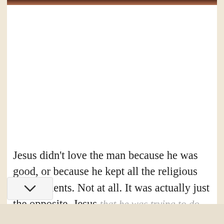[Figure (photo): A narrow strip of a brown/reddish brown textured image at the very top of the page, appearing to be a partial view of a photo]
Jesus didn't love the man because he was good, or because he kept all the religious requirements. Not at all. It was actually just the opposite. Jesus [saw] that he was trying to do the right things but